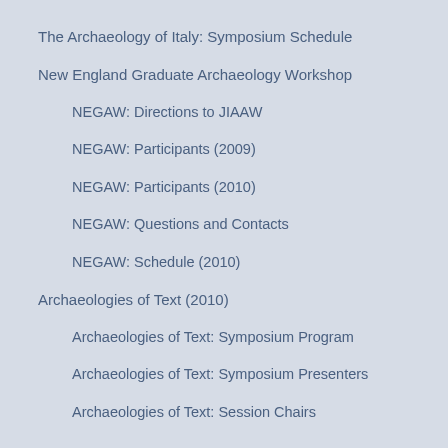The Archaeology of Italy: Symposium Schedule
New England Graduate Archaeology Workshop
NEGAW: Directions to JIAAW
NEGAW: Participants (2009)
NEGAW: Participants (2010)
NEGAW: Questions and Contacts
NEGAW: Schedule (2010)
Archaeologies of Text (2010)
Archaeologies of Text: Symposium Program
Archaeologies of Text: Symposium Presenters
Archaeologies of Text: Session Chairs